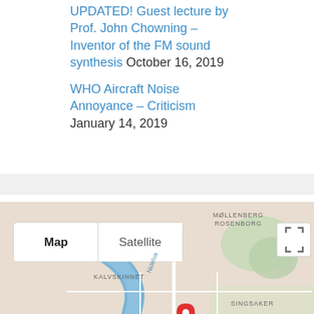UPDATED! Guest lecture by Prof. John Chowning – Inventor of the FM sound synthesis October 16, 2019
WHO Aircraft Noise Annoyance – Criticism January 14, 2019
[Figure (map): Google Maps showing Trondheim area with neighborhoods Møllenberg, Rosenborg, Kalvskinnet, Singsaker, Elgeseter. Shows Nidelva river, Elgeseter Gate street, Jonsvannveien, Osloveien, route 706. Map/Satellite toggle visible, two red location pins, pegman icon, fullscreen icon.]